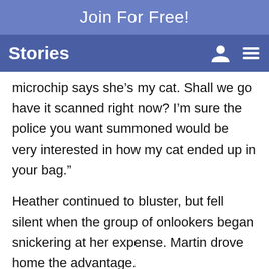Join For Free!
Stories
microchip says she’s my cat. Shall we go have it scanned right now? I’m sure the police you want summoned would be very interested in how my cat ended up in your bag.”
Heather continued to bluster, but fell silent when the group of onlookers began snickering at her expense. Martin drove home the advantage.
“That’s what I thought,” he said. “Now, we’re going to leave. I’ll have your necklace sent to you, and I never want to see or hear from you again.”